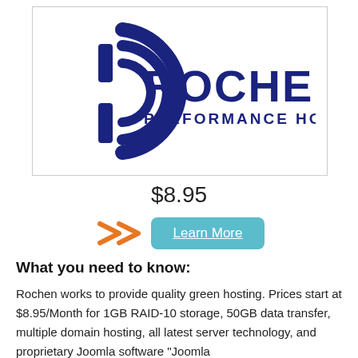[Figure (logo): Rochen Performance Hosting logo — dark navy blue circular arc icon on the left with concentric C-shaped rings, and bold text ROCHEN with PERFORMANCE HOSTING subtitle on the right]
$8.95
[Figure (infographic): Orange double-arrow pointing right toward a teal/cyan rounded rectangle button labeled Learn More]
What you need to know:
Rochen works to provide quality green hosting. Prices start at $8.95/Month for 1GB RAID-10 storage, 50GB data transfer, multiple domain hosting, all latest server technology, and proprietary Joomla software "Joomla